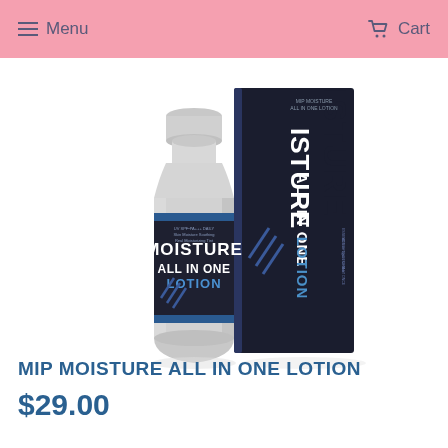Menu  Cart
[Figure (photo): Product photo showing a silver aluminum bottle of MIP Moisture All In One Lotion with a dark label, alongside its dark navy/black product box packaging. The label and box feature bold white text reading MOISTURE ALL IN ONE LOTION.]
MIP MOISTURE ALL IN ONE LOTION
$29.00